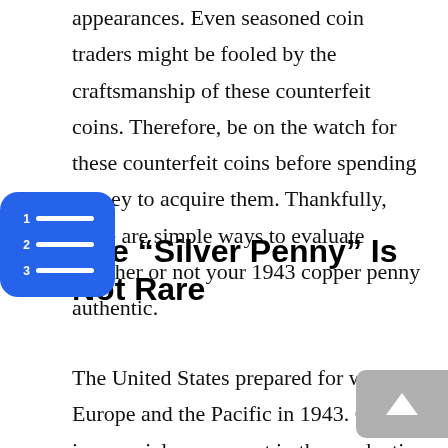appearances. Even seasoned coin traders might be fooled by the craftsmanship of these counterfeit coins. Therefore, be on the watch for these counterfeit coins before spending money to acquire them. Thankfully, there are simple ways to evaluate whether or not your 1943 copper penny authentic.
The “Silver Penny” Is Not Rare
The United States prepared for war in Europe and the Pacific in 1943. Copper is a crucial component in the production of ammunition. Congress